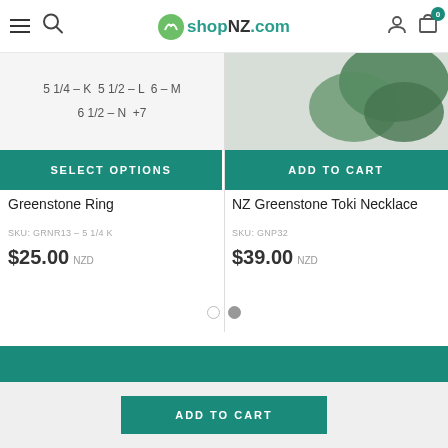shopNZ.com
5 1/4 - K  5 1/2 - L  6 - M
6 1/2 - N  +7
SELECT OPTIONS
ADD TO CART
Greenstone Ring
NZ Greenstone Toki Necklace
SKU: GRNR13 – 5 1/4 K
SKU: GNP32
$25.00 NZD
$39.00 NZD
ADD TO CART